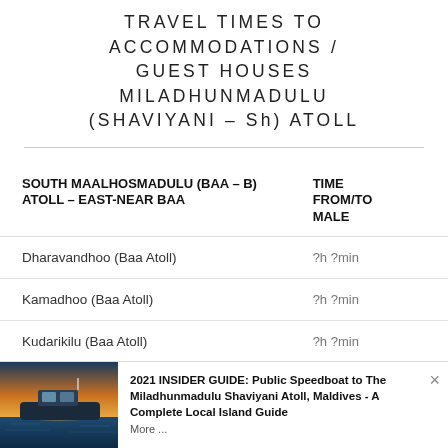TRAVEL TIMES TO ACCOMMODATIONS / GUEST HOUSES MILADHUNMADULU (SHAVIYANI – Sh) ATOLL
| SOUTH MAALHOSMADULU (BAA – B) ATOLL – EAST-NEAR BAA | TIME FROM/TO MALE |
| --- | --- |
| Dharavandhoo (Baa Atoll) | ?h ?min |
| Kamadhoo (Baa Atoll) | ?h ?min |
| Kudarikilu (Baa Atoll) | ?h ?min |
[Figure (photo): Thumbnail image of a speedboat at sunset/dusk on water]
2021 INSIDER GUIDE: Public Speedboat to The Miladhunmadulu Shaviyani Atoll, Maldives - A Complete Local Island Guide
More ...